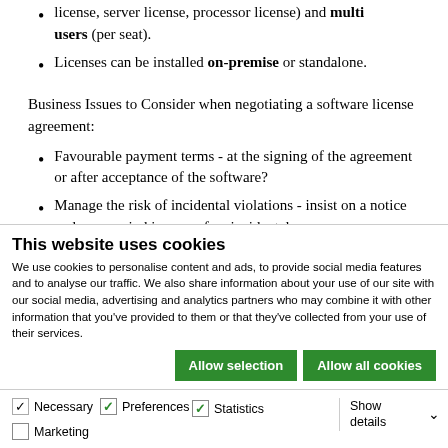license, server license, processor license) and multi users (per seat).
Licenses can be installed on-premise or standalone.
Business Issues to Consider when negotiating a software license agreement:
Favourable payment terms - at the signing of the agreement or after acceptance of the software?
Manage the risk of incidental violations - insist on a notice and cure period in case of an incidental
This website uses cookies
We use cookies to personalise content and ads, to provide social media features and to analyse our traffic. We also share information about your use of our site with our social media, advertising and analytics partners who may combine it with other information that you've provided to them or that they've collected from your use of their services.
Allow selection | Allow all cookies
Necessary | Preferences | Statistics | Marketing | Show details